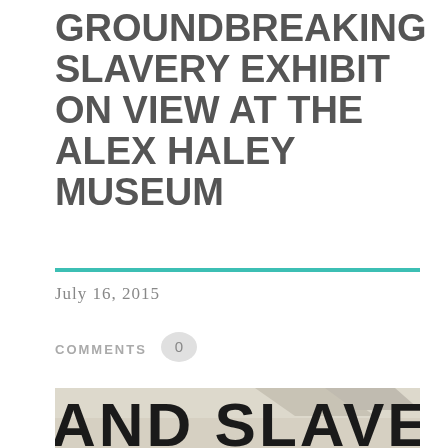GROUNDBREAKING SLAVERY EXHIBIT ON VIEW AT THE ALEX HALEY MUSEUM
July 16, 2015
COMMENTS  0
[Figure (photo): Black and white / sepia-toned photograph of a building exterior with bare winter trees. In the foreground, large bold letters read 'AND SLAVEH' (part of a sign or text reading 'AND SLAVERY'), partially cropped at the right edge.]